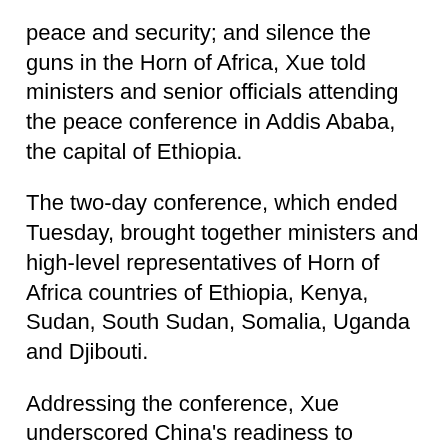peace and security; and silence the guns in the Horn of Africa, Xue told ministers and senior officials attending the peace conference in Addis Ababa, the capital of Ethiopia.
The two-day conference, which ended Tuesday, brought together ministers and high-level representatives of Horn of Africa countries of Ethiopia, Kenya, Sudan, South Sudan, Somalia, Uganda and Djibouti.
Addressing the conference, Xue underscored China's readiness to support HOA countries to focus on development, accelerate regional integration, enhance connectivity, boost home-grown economic development, explore complementarity among one another, and step up cooperation in areas including